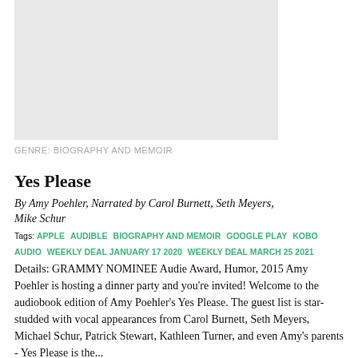[Figure (illustration): Gray placeholder rectangle for book cover image]
GENRE: BIOGRAPHY AND MEMOIR
Yes Please
By Amy Poehler, Narrated by Carol Burnett, Seth Meyers, Mike Schur
Tags: APPLE  AUDIBLE  BIOGRAPHY AND MEMOIR  GOOGLE PLAY  KOBO  AUDIO  WEEKLY DEAL JANUARY 17 2020  WEEKLY DEAL MARCH 25 2021
Details: GRAMMY NOMINEE Audie Award, Humor, 2015 Amy Poehler is hosting a dinner party and you're invited! Welcome to the audiobook edition of Amy Poehler's Yes Please. The guest list is star-studded with vocal appearances from Carol Burnett, Seth Meyers, Michael Schur, Patrick Stewart, Kathleen Turner, and even Amy's parents - Yes Please is the...